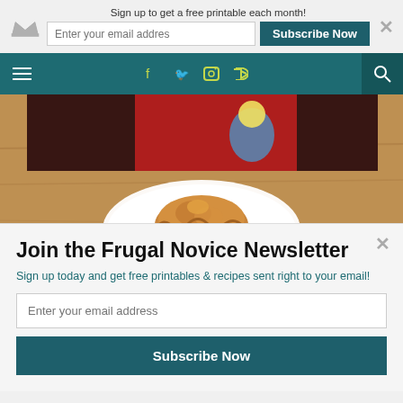Sign up to get a free printable each month!
Enter your email addres
Subscribe Now
[Figure (photo): A baked pie or pastry on a white plate on a wooden table. A person wearing a cartoon character t-shirt is visible in background. A Sumo badge watermark is visible in the lower right.]
Join the Frugal Novice Newsletter
Sign up today and get free printables & recipes sent right to your email!
Enter your email address
Subscribe Now